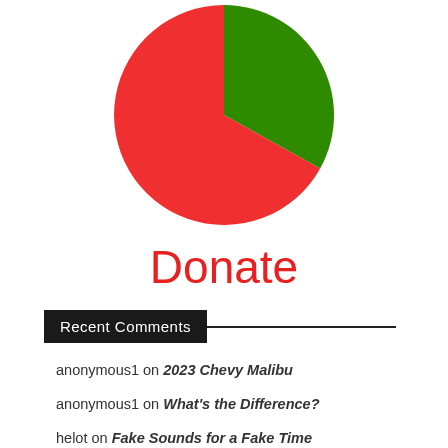[Figure (pie-chart): ]
Donate
Recent Comments
anonymous1 on 2023 Chevy Malibu
anonymous1 on What's the Difference?
helot on Fake Sounds for a Fake Time